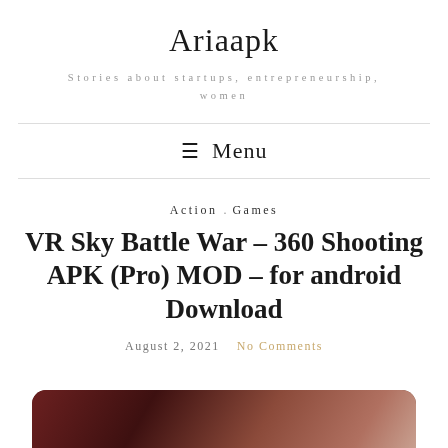Ariaapk
Stories about startups, entrepreneurship, women
≡ Menu
Action . Games
VR Sky Battle War – 360 Shooting APK (Pro) MOD – for android Download
August 2, 2021  No Comments
[Figure (photo): Dark reddish-brown game screenshot or promotional image, partially visible at the bottom of the page]